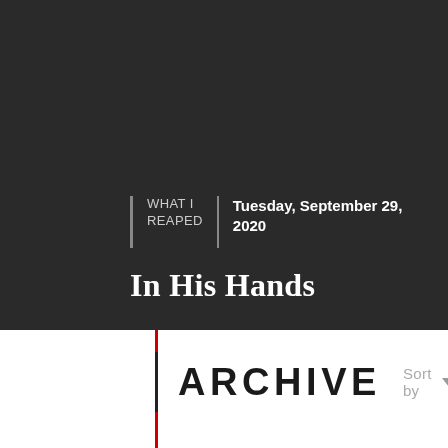WHAT I REAPED
Tuesday, September 29, 2020
In His Hands
ARCHIVE
Sort by